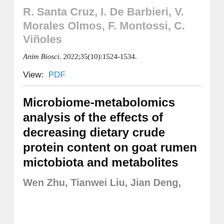R. Santa Cruz, I. De Barbieri, V. Morales Olmos, F. Montossi, C. Viñoles
Anim Biosci. 2022;35(10):1524-1534.
View: PDF
Microbiome-metabolomics analysis of the effects of decreasing dietary crude protein content on goat rumen mictobiota and metabolites
Wen Zhu, Tianwei Liu, Jian Deng,